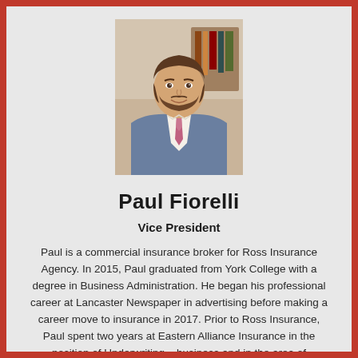[Figure (photo): Professional headshot of Paul Fiorelli, a young man with a beard wearing a blue suit and patterned tie, smiling, photographed indoors.]
Paul Fiorelli
Vice President
Paul is a commercial insurance broker for Ross Insurance Agency. In 2015, Paul graduated from York College with a degree in Business Administration. He began his professional career at Lancaster Newspaper in advertising before making a career move to insurance in 2017. Prior to Ross Insurance, Paul spent two years at Eastern Alliance Insurance in the position of Underwriting – business and in the area of...